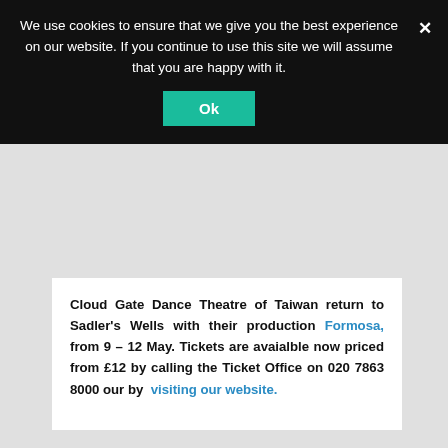We use cookies to ensure that we give you the best experience on our website. If you continue to use this site we will assume that you are happy with it.
Ok
Cloud Gate Dance Theatre of Taiwan return to Sadler's Wells with their production Formosa, from 9 – 12 May. Tickets are avaialble now priced from £12 by calling the Ticket Office on 020 7863 8000 our by visiting our website.
← Older posts